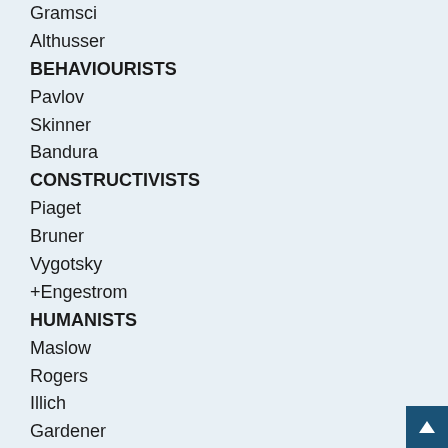Gramsci
Althusser
BEHAVIOURISTS
Pavlov
Skinner
Bandura
CONSTRUCTIVISTS
Piaget
Bruner
Vygotsky
+Engestrom
HUMANISTS
Maslow
Rogers
Illich
Gardener
SCHOOLS
Montessori
Friere
Steiner
John Seely Brown
+ Christopher Alexander